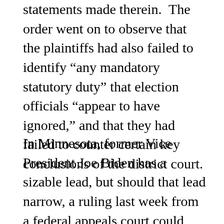statements made therein.  The order went on to observe that the plaintiffs had also failed to identify “any mandatory statutory duty” that election officials “appear to have ignored,” and that they had failed to counter certain key conclusions of the district court.
In Minnesota, former Vice President Joe Biden has a sizable lead, but should that lead narrow, a ruling last week from a federal appeals court could have implications for the outcome in that state’s presidential vote. The court, in a 2-1 ruling along ideological lines, ordered state election officials to separate late-arriving